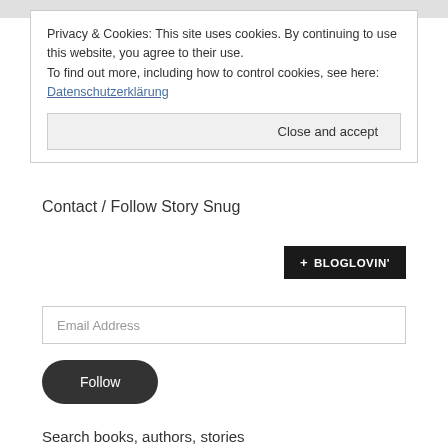Privacy & Cookies: This site uses cookies. By continuing to use this website, you agree to their use.
To find out more, including how to control cookies, see here:
Datensschutzerklärung
Close and accept
Contact / Follow Story Snug
[Figure (logo): Bloglovin button with plus sign and text BLOGLOVIN' on dark background]
Email Address
Follow
Search books, authors, stories